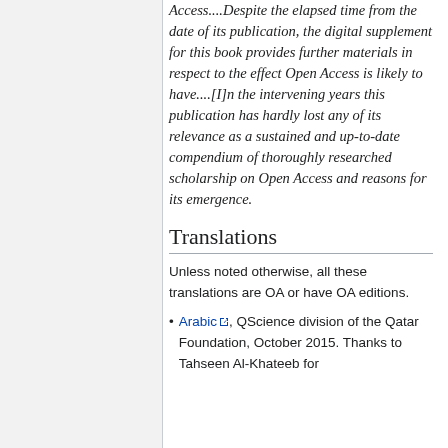Access....Despite the elapsed time from the date of its publication, the digital supplement for this book provides further materials in respect to the effect Open Access is likely to have....[I]n the intervening years this publication has hardly lost any of its relevance as a sustained and up-to-date compendium of thoroughly researched scholarship on Open Access and reasons for its emergence.
Translations
Unless noted otherwise, all these translations are OA or have OA editions.
Arabic, QScience division of the Qatar Foundation, October 2015. Thanks to Tahseen Al-Khateeb for